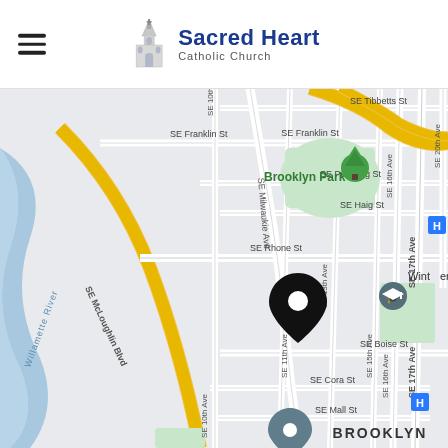Sacred Heart Catholic Church
[Figure (map): Google Maps view centered on Sacred Heart Catholic Church location in the Brooklyn neighborhood of Portland, Oregon. Shows streets including SE McLoughlin Blvd, SE Milwaukie Ave, SE 17th Ave, SE 16th Ave, SE 15th Ave, SE 13th Ave, SE 11th Ave, SE 10th Ave, SE 20th Ave, SE Franklin St, SE Pershing St, SE Haig St, SE Rhone St, SE Boise St, SE Cora St, SE Mall St, SE Tibbetts St. Brooklyn Park labeled with tree icon. Willamette River shown on left. Black location pin marks the church location near SE 11th Ave and SE Rhone St. 'Wintrhaven' neighborhood label visible. BROOKLYN label at bottom right.]